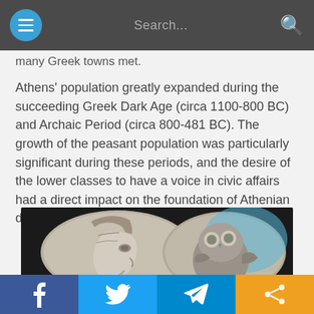Search...
many Greek towns met.
Athens' population greatly expanded during the succeeding Greek Dark Age (circa 1100-800 BC) and Archaic Period (circa 800-481 BC). The growth of the peasant population was particularly significant during these periods, and the desire of the lower classes to have a voice in civic affairs had a direct impact on the foundation of Athenian democracy.
[Figure (photo): Two sides of an ancient Athenian silver coin — left side shows the helmeted profile of Athena, right side shows an owl with a blue tinted highlight]
f  [Twitter bird]  [Telegram arrow]  [Share icon]